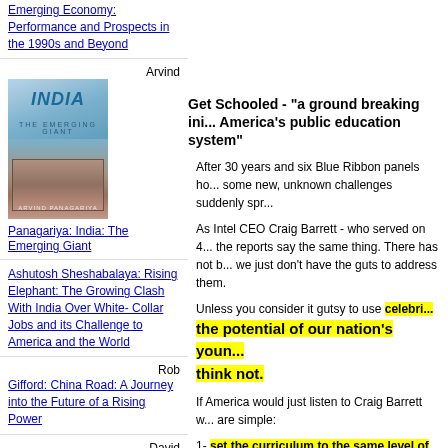Emerging Economy: Performance and Prospects in the 1990s and Beyond
[Figure (illustration): Book cover of 'India: The Emerging Giant' by Arvind Panagariya, showing city buildings and a rural dwelling]
Arvind
Panagariya: India: The Emerging Giant
Ashutosh Sheshabalaya: Rising Elephant: The Growing Clash With India Over White-Collar Jobs and its Challenge to America and the World
Rob Gifford: China Road: A Journey into the Future of a Rising Power
David Heenan: Flight Capital: The Alarming Exodus of America's Best and Brightest
Thomas
[Figure (illustration): Notebook with Bill & Melinda Gates Foundation and Viacom logos]
Get Schooled - "a ground breaking initiative to transform America's public education system"
After 30 years and six Blue Ribbon panels how are we doing? With some new, unknown challenges suddenly sprung up?
As Intel CEO Craig Barrett - who served on 4 of these noted, all the reports say the same thing. There has not been change because we just don't have the guts to address them.
Unless you consider it gutsy to use celebrities to unlock the potential of our nation's young people. I think not.
If America would just listen to Craig Barrett what he says steps are simple:
1- set the curriculum to the same level of difficulty as the training to win in a globally competitive sport (so kids actually have a shot)
2- hire teachers with Masters degrees in the...